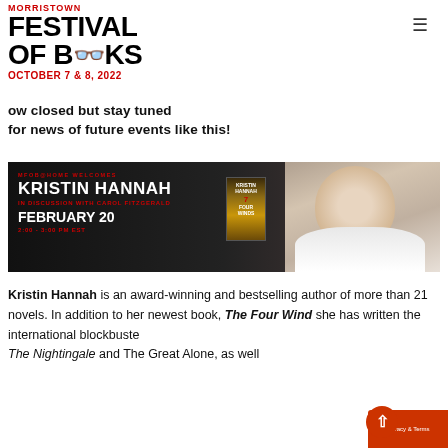MORRISTOWN FESTIVAL OF BOOKS OCTOBER 7 & 8, 2022
ow closed but stay tuned for news of future events like this!
[Figure (photo): Promotional banner for MFOB@Home event featuring Kristin Hannah in discussion with Carol Fitzgerald, February 20, 2:00–3:00 PM EST, with book cover of The Four Winds and author photo.]
Kristin Hannah is an award-winning and bestselling author of more than 21 novels. In addition to her newest book, The Four Winds, she has written the international blockbuster The Nightingale and The Great Alone, as well